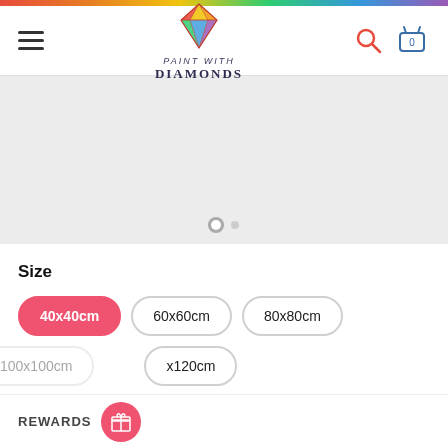Paint with Diamonds - navigation header with logo, hamburger menu, search and cart icons
[Figure (screenshot): Gray hero/banner slider area with two dots indicator at bottom]
Size
40x40cm (selected, highlighted in pink)
60x60cm
80x80cm
x120cm (partially visible)
REWARDS